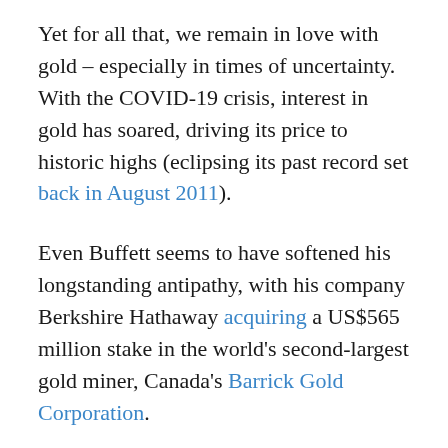Yet for all that, we remain in love with gold – especially in times of uncertainty. With the COVID-19 crisis, interest in gold has soared, driving its price to historic highs (eclipsing its past record set back in August 2011).
Even Buffett seems to have softened his longstanding antipathy, with his company Berkshire Hathaway acquiring a US$565 million stake in the world's second-largest gold miner, Canada's Barrick Gold Corporation.
Owning shares in a gold-mining company, though, is not the same thing as owning actual gold. Since gold shares are linked both to gold prices and to the broader market, they tend to...